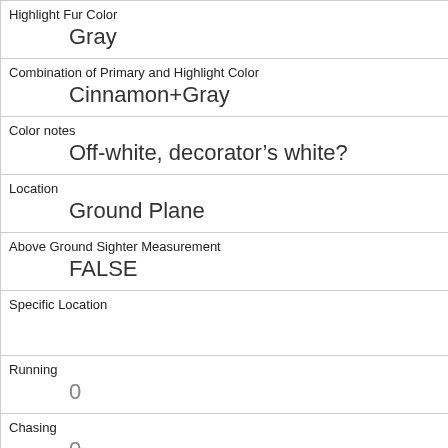| Highlight Fur Color | Gray |
| Combination of Primary and Highlight Color | Cinnamon+Gray |
| Color notes | Off-white, decorator’s white? |
| Location | Ground Plane |
| Above Ground Sighter Measurement | FALSE |
| Specific Location |  |
| Running | 0 |
| Chasing | 0 |
| Climbing | 0 |
| Eating | 1 |